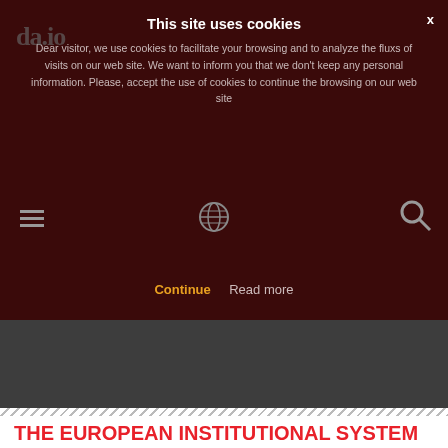[Figure (screenshot): Cookie consent overlay on a dark red/maroon background with site logo, hamburger menu, globe icon, and search icon visible. Title 'This site uses cookies' with cookie notice text and Continue/Read more buttons.]
THE EUROPEAN INSTITUTIONAL SYSTEM
The EU has several services and institutions with their own competences and means of action. The following institutions are the main EU actors working on Indigenous Peoples-related issues.
The European Parliament
The European Parliament has, with the Council of the EU, legislative